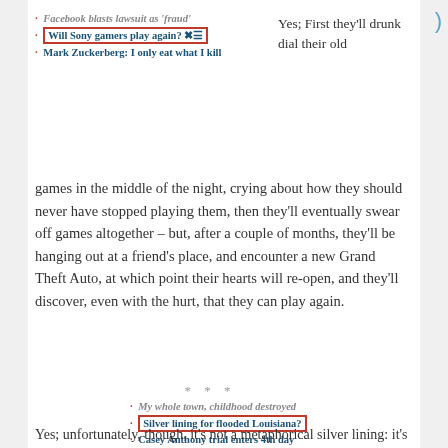Facebook blasts lawsuit as 'fraud'
Will Sony gamers play again? [highlighted]
Mark Zuckerberg: I only eat what I kill
Yes; First they'll drunk dial their old games in the middle of the night, crying about how they should never have stopped playing them, then they'll eventually swear off games altogether – but, after a couple of months, they'll be hanging out at a friend's place, and encounter a new Grand Theft Auto, at which point their hearts will re-open, and they'll discover, even with the hurt, that they can play again.
* * *
My whole town, childhood destroyed
Silver lining for flooded Louisiana? [highlighted]
Casey Anthony trial enters 4th day
Yes; unfortunately, though, it's not a metaphorical silver lining: it's a nitrate-heavy sludge pooling at the edges of the flood waters.